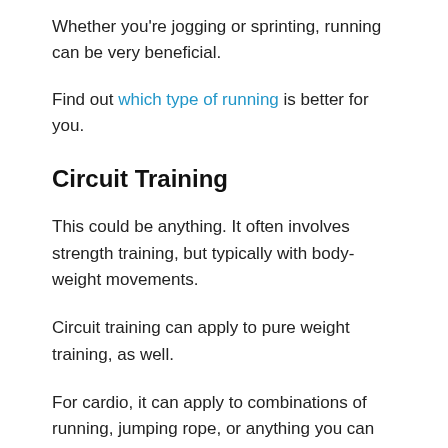Whether you're jogging or sprinting, running can be very beneficial.
Find out which type of running is better for you.
Circuit Training
This could be anything. It often involves strength training, but typically with body-weight movements.
Circuit training can apply to pure weight training, as well.
For cardio, it can apply to combinations of running, jumping rope, or anything you can think of.